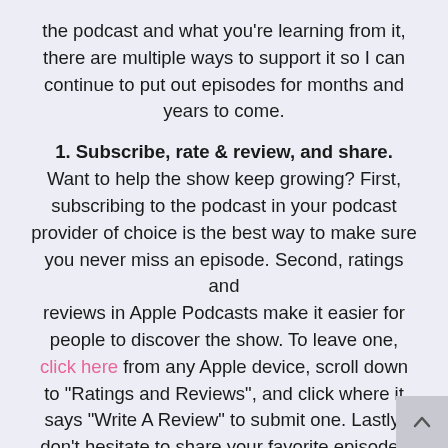the podcast and what you're learning from it, there are multiple ways to support it so I can continue to put out episodes for months and years to come.
1. Subscribe, rate & review, and share. Want to help the show keep growing? First, subscribing to the podcast in your podcast provider of choice is the best way to make sure you never miss an episode. Second, ratings and reviews in Apple Podcasts make it easier for people to discover the show. To leave one, click here from any Apple device, scroll down to "Ratings and Reviews", and click where it says "Write A Review" to submit one. Lastly, don't hesitate to share your favorite episodes